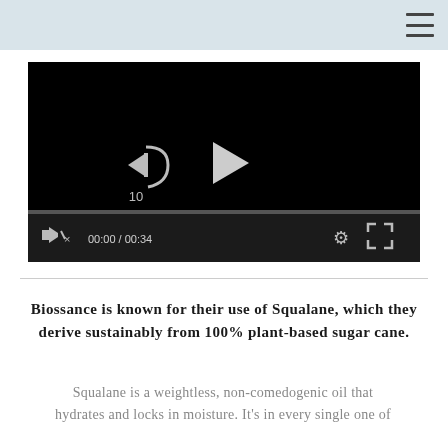[Figure (screenshot): Embedded video player with black background, showing media controls: rewind 10 seconds button, play button, progress bar, timestamp 00:00 / 00:34, settings gear icon, and fullscreen icon.]
Biossance is known for their use of Squalane, which they derive sustainably from 100% plant-based sugar cane.
Squalane is a weightless, non-comedogenic oil that hydrates and locks in moisture. It's in every single one of